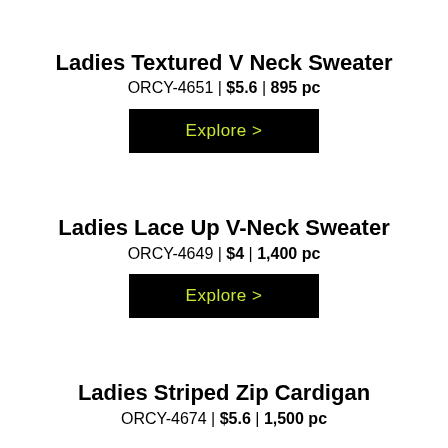Ladies Textured V Neck Sweater
ORCY-4651 | $5.6 | 895 pc
[Figure (other): Black button labeled 'Explore >']
Ladies Lace Up V-Neck Sweater
ORCY-4649 | $4 | 1,400 pc
[Figure (other): Black button labeled 'Explore >']
Ladies Striped Zip Cardigan
ORCY-4674 | $5.6 | 1,500 pc